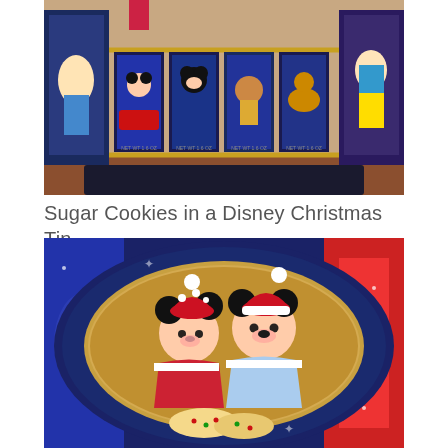[Figure (photo): A display of Disney Christmas themed cookie tins arranged in a gold wire rack on a wooden shelf. The tins feature Disney characters including Minnie Mouse, Mickey Mouse, Cinderella, Snow White, Pluto, and others in various Christmas scenes against blue snowy backgrounds.]
Sugar Cookies in a Disney Christmas Tin
[Figure (photo): A close-up of a round Disney Christmas cookie tin with a navy blue border decorated with snowflakes. The lid features a gold oval center with Minnie Mouse and Mickey Mouse dressed in Christmas Santa outfits, with sugar cookies visible at the bottom of the image.]